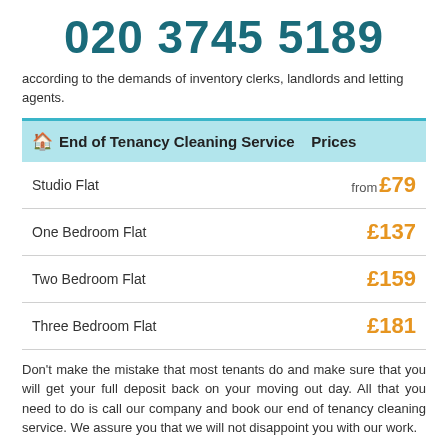020 3745 5189
according to the demands of inventory clerks, landlords and letting agents.
| End of Tenancy Cleaning Service | Prices |
| --- | --- |
| Studio Flat | from £79 |
| One Bedroom Flat | £137 |
| Two Bedroom Flat | £159 |
| Three Bedroom Flat | £181 |
Don't make the mistake that most tenants do and make sure that you will get your full deposit back on your moving out day. All that you need to do is call our company and book our end of tenancy cleaning service. We assure you that we will not disappoint you with our work.